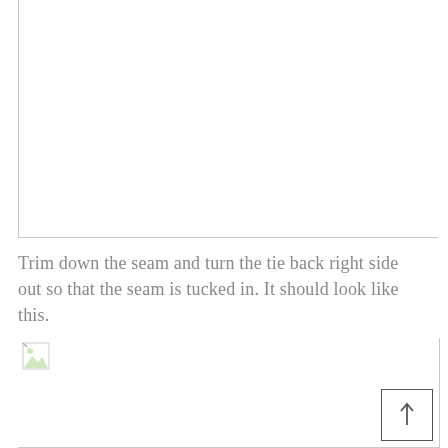[Figure (photo): Top image area showing a white/blank rectangular region with a light gray border on the left and bottom sides, representing a cropped photo placeholder.]
Trim down the seam and turn the tie back right side out so that the seam is tucked in. It should look like this.
[Figure (photo): Bottom image area with a small broken image icon in the top-left corner and a small square box with an upward arrow in the bottom-right area, representing a photo of the tie turned right side out.]